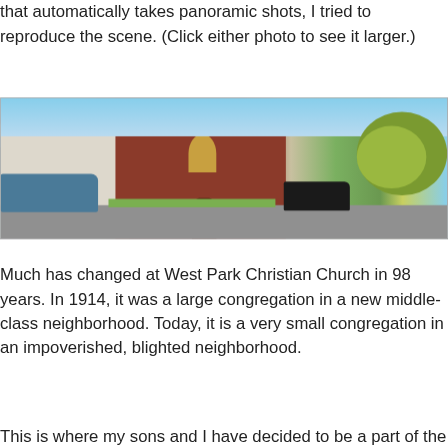that automatically takes panoramic shots, I tried to reproduce the scene. (Click either photo to see it larger.)
[Figure (photo): Panoramic street photo showing a red brick church building in the center, a white house on the left, cars parked on the street, trees on the right, and a blue sky above.]
Much has changed at West Park Christian Church in 98 years. In 1914, it was a large congregation in a new middle-class neighborhood. Today, it is a very small congregation in an impoverished, blighted neighborhood.
This is where my sons and I have decided to be a part of the family of Christ. The pastor here was an associate pastor at North Liberty Christian Church, where I